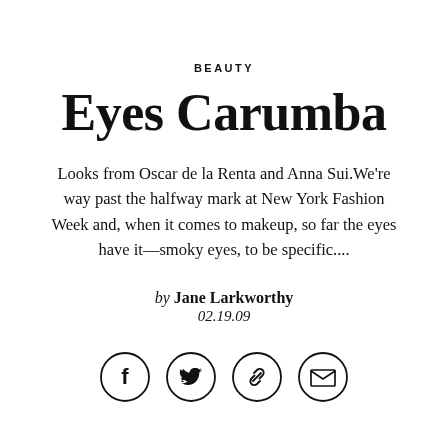BEAUTY
Eyes Carumba
Looks from Oscar de la Renta and Anna Sui.We're way past the halfway mark at New York Fashion Week and, when it comes to makeup, so far the eyes have it—smoky eyes, to be specific....
by Jane Larkworthy
02.19.09
[Figure (infographic): Four circular social sharing icons: Facebook (f), Twitter (bird), Link/chain, Email (envelope)]